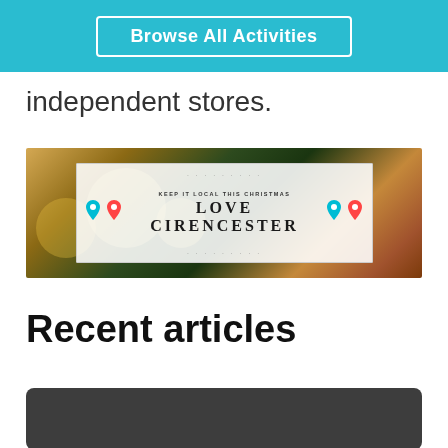Browse All Activities
independent stores.
[Figure (photo): Christmas banner with bokeh lights background, featuring a white certificate-style panel reading 'KEEP IT LOCAL THIS CHRISTMAS / LOVE / CIRENCESTER' with location pin icons on each side]
Recent articles
[Figure (photo): Dark gray/charcoal article thumbnail image, partially visible at bottom of page]